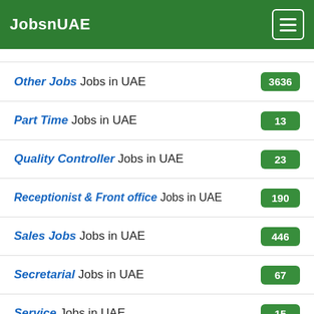JobsnUAE
Other Jobs Jobs in UAE — 3636
Part Time Jobs in UAE — 13
Quality Controller Jobs in UAE — 23
Receptionist & Front office Jobs in UAE — 190
Sales Jobs Jobs in UAE — 446
Secretarial Jobs in UAE — 67
Service Jobs in UAE — 15
Teacher Jobs in UAE — 50